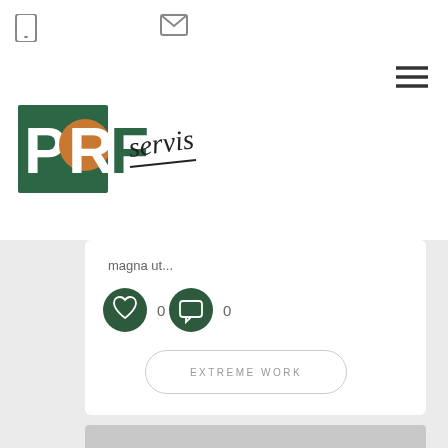[Figure (logo): PROF servis logo with green and orange letters and handwritten 'servis' text]
magna ut...
[Figure (infographic): Heart like button with count 0 and comment button with count 0]
EXTREME WORK
[Figure (photo): Placeholder image 1920x1278]